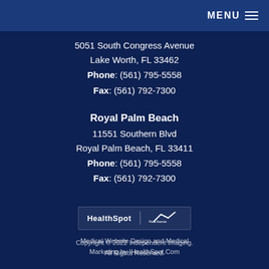MENU
5051 South Congress Avenue
Lake Worth, FL 33462
Phone: (561) 795-5558
Fax: (561) 792-7300
Royal Palm Beach
11551 Southern Blvd
Royal Palm Beach, FL 33411
Phone: (561) 795-5558
Fax: (561) 792-7300
[Figure (logo): IHealthSpot and Peak Avenue Resource logos side by side]
Medical Website Design and Medical Marketing by IHealthSpot.Com
Copyright © 2022 Independent Imaging. All Rights Reserved.